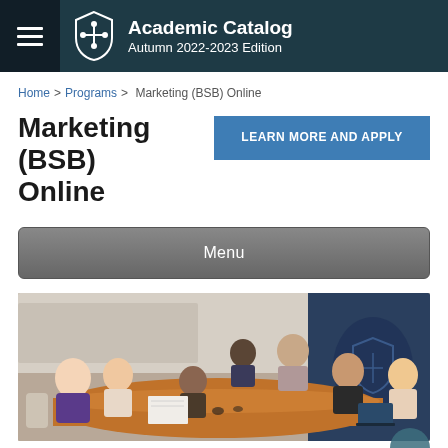Academic Catalog Autumn 2022-2023 Edition
Home > Programs > Marketing (BSB) Online
Marketing (BSB) Online
LEARN MORE AND APPLY
Menu
[Figure (photo): Group of people sitting around a conference table in a meeting room, engaged in discussion, with a laptop visible on the table.]